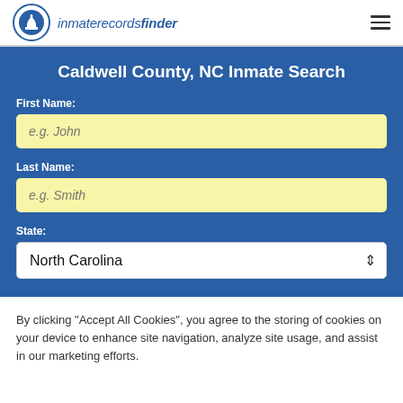inmaterecordsfinder
Caldwell County, NC Inmate Search
First Name:
e.g. John
Last Name:
e.g. Smith
State:
North Carolina
By clicking “Accept All Cookies”, you agree to the storing of cookies on your device to enhance site navigation, analyze site usage, and assist in our marketing efforts.